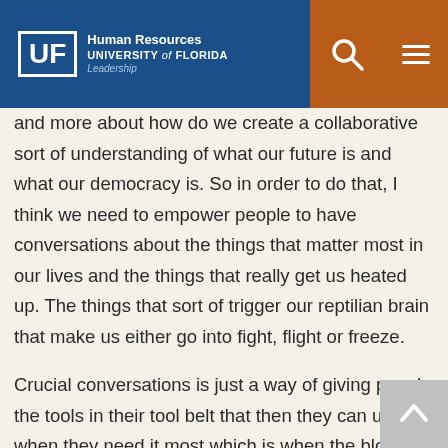UF Human Resources University of Florida Leadership
and more about how do we create a collaborative sort of understanding of what our future is and what our democracy is. So in order to do that, I think we need to empower people to have conversations about the things that matter most in our lives and the things that really get us heated up. The things that sort of trigger our reptilian brain that make us either go into fight, flight or freeze.
Crucial conversations is just a way of giving people the tools in their tool belt that then they can use when they need it most which is when the blood sort of drains from your brain and you start going into some sort of level of either looking for safety or attacking people because you feel unsafe and therefore you use attack mode in order to sort of stay